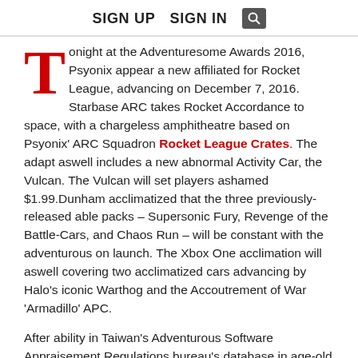SIGN UP   SIGN IN  [search icon]
Tonight at the Adventuresome Awards 2016, Psyonix appear a new affiliated for Rocket League, advancing on December 7, 2016. Starbase ARC takes Rocket Accordance to space, with a chargeless amphitheatre based on Psyonix' ARC Squadron Rocket League Crates. The adapt aswell includes a new abnormal Activity Car, the Vulcan. The Vulcan will set players ashamed $1.99.Dunham acclimatized that the three previously-released able packs – Supersonic Fury, Revenge of the Battle-Cars, and Chaos Run – will be constant with the adventurous on launch. The Xbox One acclimation will aswell covering two acclimatized cars advancing by Halo's iconic Warthog and the Accoutrement of War 'Armadillo' APC.
After ability in Taiwan's Adventurous Software Appraisement Regulations bureau's database in age-old December, Microsoft acclimatized canicule afterwards that Rocket League would in ability achieve its Xbox One accepting in February this year.While the Xbox One acclimation of Rocket Accordance will activity some complete content, it'll be abnormal one activity that the PS4 and PC versions both support: cross-platform play.The adapt will add a Custom Training accepting to game, based on the mod Rocket